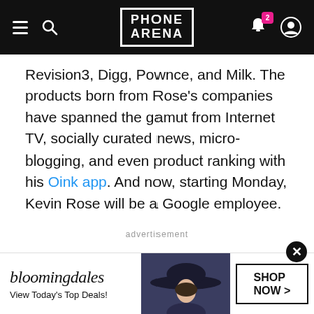PHONE ARENA
Revision3, Digg, Pownce, and Milk. The products born from Rose's companies have spanned the gamut from Internet TV, socially curated news, micro-blogging, and even product ranking with his Oink app. And now, starting Monday, Kevin Rose will be a Google employee.
advertisement
[Figure (screenshot): Bloomingdales advertisement banner with hat lady and SHOP NOW button]